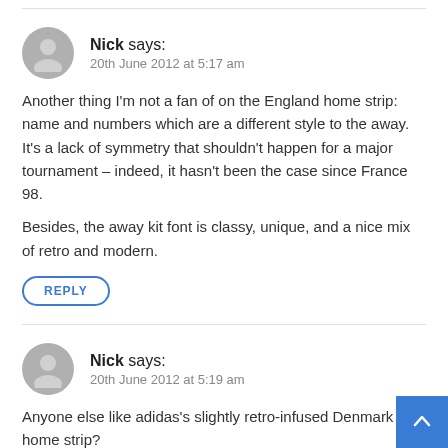Nick says: 20th June 2012 at 5:17 am
Another thing I'm not a fan of on the England home strip: name and numbers which are a different style to the away. It's a lack of symmetry that shouldn't happen for a major tournament – indeed, it hasn't been the case since France 98.
Besides, the away kit font is classy, unique, and a nice mix of retro and modern.
REPLY
Nick says: 20th June 2012 at 5:19 am
Anyone else like adidas's slightly retro-infused Denmark home strip?
REPLY